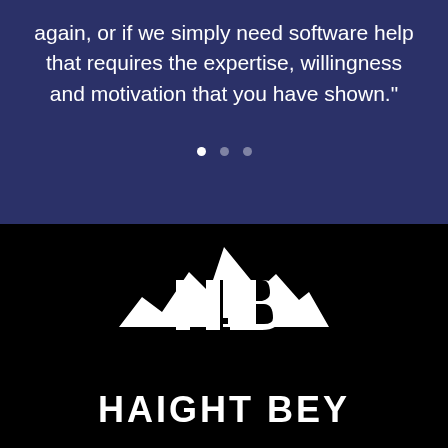again, or if we simply need software help that requires the expertise, willingness and motivation that you have shown."
[Figure (logo): Haight Bey logo: white mountain silhouette with 'HB' letters overlaid, on black background, with 'HAIGHT BEY' text below]